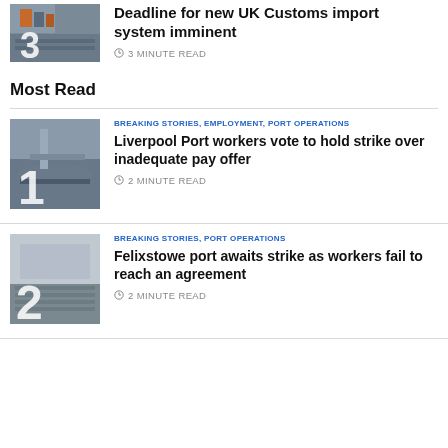[Figure (photo): Shipping containers at port, thumbnail with number 3]
Deadline for new UK Customs import system imminent
3 MINUTE READ
Most Read
[Figure (photo): Liverpool port waterfront photo with number 1]
BREAKING STORIES, EMPLOYMENT, PORT OPERATIONS
Liverpool Port workers vote to hold strike over inadequate pay offer
2 MINUTE READ
[Figure (photo): Aerial view of Felixstowe port with number 2]
BREAKING STORIES, PORT OPERATIONS
Felixstowe port awaits strike as workers fail to reach an agreement
2 MINUTE READ